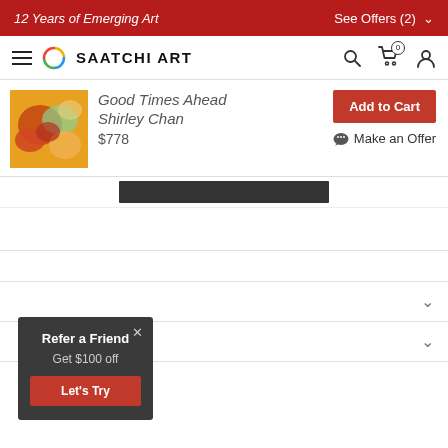12 Years of Emerging Art | See Offers (2)
[Figure (logo): Saatchi Art navigation bar with hamburger menu, circular logo, brand name SAATCHI ART, search icon, cart icon with 0, and user icon]
[Figure (photo): Abstract painting thumbnail showing warm orange, red, and green brushstrokes]
Good Times Ahead
Shirley Chan
$778
Add to Cart
Make an Offer
[Figure (other): Dark horizontal bar placeholder element]
Refer a Friend
Get $100 off
Let's Try